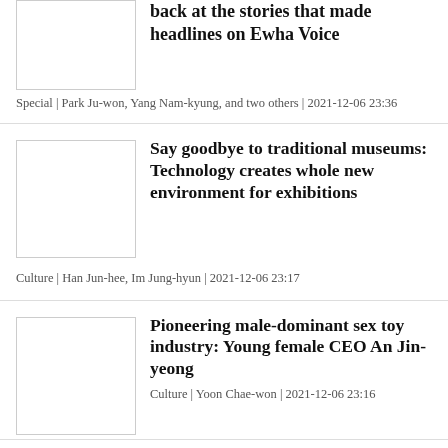back at the stories that made headlines on Ewha Voice
Special | Park Ju-won, Yang Nam-kyung, and two others | 2021-12-06 23:36
Say goodbye to traditional museums: Technology creates whole new environment for exhibitions
Culture | Han Jun-hee, Im Jung-hyun | 2021-12-06 23:17
Pioneering male-dominant sex toy industry: Young female CEO An Jin-yeong
Culture | Yoon Chae-won | 2021-12-06 23:16
Ewha Career Development Center hosts Itdaa Conference
In Brief | Ewha Voice | 2021-12-06 23:14
Ewha Historical Institution holds fall conference